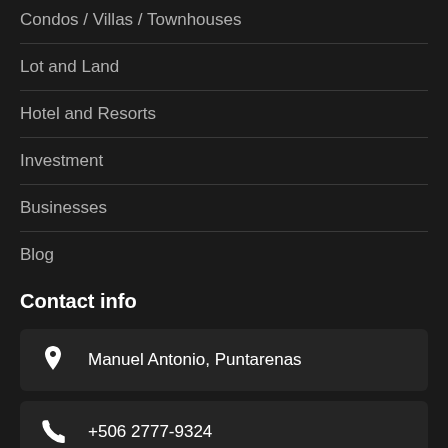Condos / Villas / Townhouses
Lot and Land
Hotel and Resorts
Investment
Businesses
Blog
Contact info
Manuel Antonio, Puntarenas
+506 2777-9324
info@crlre.com